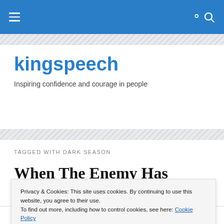kingspeech navigation bar with hamburger menu and search icon
kingspeech
Inspiring confidence and courage in people
TAGGED WITH DARK SEASON
When The Enemy Has Appeared To Have Won. God
Privacy & Cookies: This site uses cookies. By continuing to use this website, you agree to their use.
To find out more, including how to control cookies, see here: Cookie Policy
Close and accept